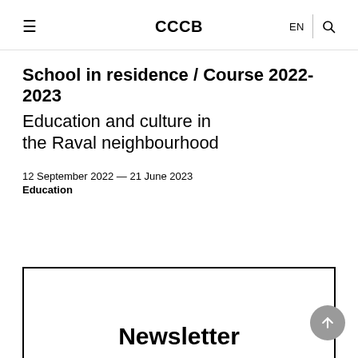≡  CCCB  EN  🔍
School in residence / Course 2022-2023
Education and culture in the Raval neighbourhood
12 September 2022 — 21 June 2023
Education
Newsletter